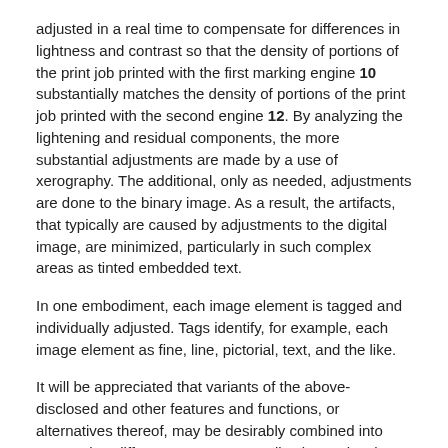adjusted in a real time to compensate for differences in lightness and contrast so that the density of portions of the print job printed with the first marking engine 10 substantially matches the density of portions of the print job printed with the second engine 12. By analyzing the lightening and residual components, the more substantial adjustments are made by a use of xerography. The additional, only as needed, adjustments are done to the binary image. As a result, the artifacts, that typically are caused by adjustments to the digital image, are minimized, particularly in such complex areas as tinted embedded text.
In one embodiment, each image element is tagged and individually adjusted. Tags identify, for example, each image element as fine, line, pictorial, text, and the like.
It will be appreciated that variants of the above-disclosed and other features and functions, or alternatives thereof, may be desirably combined into many other different systems or applications. Also that various presently unforeseen or unanticipated alternatives, modifications, variations or improvements therein may be subsequently